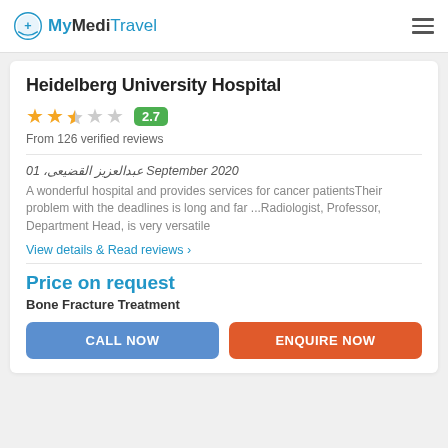MyMediTravel
Heidelberg University Hospital
2.7 — From 126 verified reviews
عبدالعزيز القضيعى، 01 September 2020
A wonderful hospital and provides services for cancer patientsTheir problem with the deadlines is long and far ...Radiologist, Professor, Department Head, is very versatile
View details & Read reviews >
Price on request
Bone Fracture Treatment
CALL NOW
ENQUIRE NOW